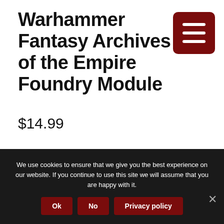Warhammer Fantasy Archives of the Empire Foundry Module
$14.99
This is a Foundry VTT product
We use cookies to ensure that we give you the best experience on our website. If you continue to use this site we will assume that you are happy with it.